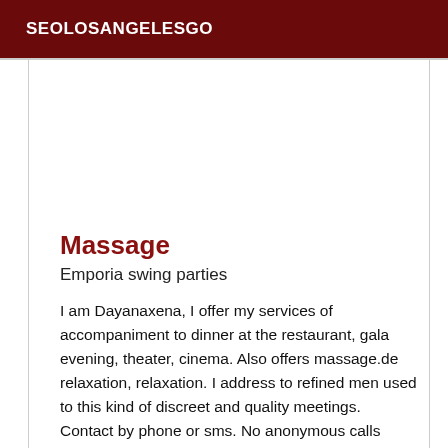SEOLOSANGELESGO
Massage
Emporia swing parties
I am Dayanaxena, I offer my services of accompaniment to dinner at the restaurant, gala evening, theater, cinema. Also offers massage.de relaxation, relaxation. I address to refined men used to this kind of discreet and quality meetings. Contact by phone or sms. No anonymous calls please. See you soon Moves to Hotel house and apartment.